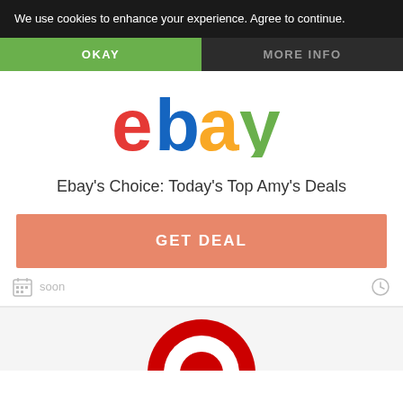We use cookies to enhance your experience. Agree to continue.
OKAY
MORE INFO
[Figure (logo): eBay logo with colorful letters: red 'e', blue 'b', yellow 'a', green 'y']
Ebay's Choice: Today's Top Amy's Deals
GET DEAL
soon
[Figure (logo): Target logo - red and white bullseye circles, partially visible at bottom of page]